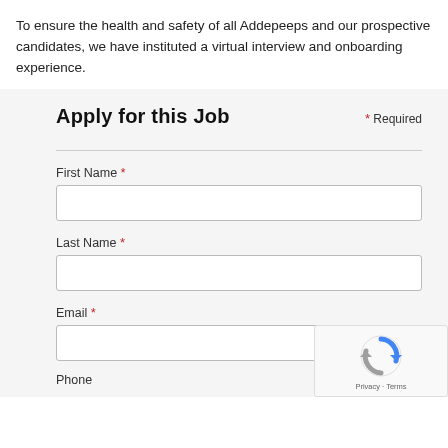To ensure the health and safety of all Addepeeps and our prospective candidates, we have instituted a virtual interview and onboarding experience.
Apply for this Job
* Required
First Name *
Last Name *
Email *
Phone